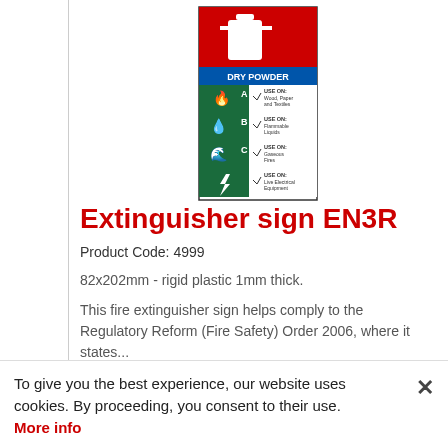[Figure (illustration): Dry Powder fire extinguisher identification sign showing fire class icons (A, B, C) and use cases: Wood/Paper/Textiles, Flammable Liquids, Gaseous Fires, Live Electrical Equipment]
Extinguisher sign EN3R
Product Code: 4999
82x202mm - rigid plastic 1mm thick.
This fire extinguisher sign helps comply to the Regulatory Reform (Fire Safety) Order 2006, where it states...
To give you the best experience, our website uses cookies. By proceeding, you consent to their use. More info